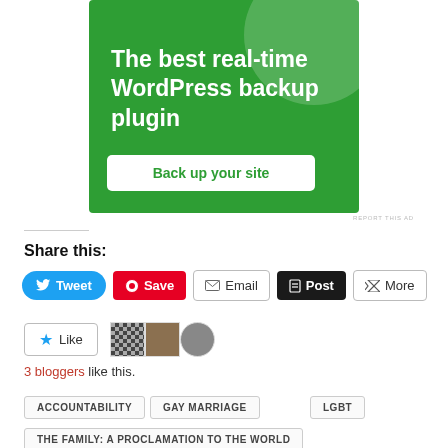[Figure (illustration): Green advertisement banner for a WordPress backup plugin with text 'The best real-time WordPress backup plugin' and a white button 'Back up your site']
REPORT THIS AD
Share this:
Tweet  Save  Email  Post  More
Like
3 bloggers like this.
ACCOUNTABILITY
GAY MARRIAGE
LGBT
THE FAMILY: A PROCLAMATION TO THE WORLD